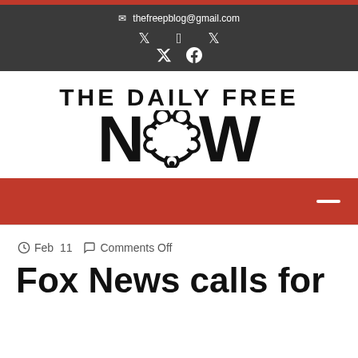thefreepblog@gmail.com
[Figure (logo): The Daily Free NOW logo — bold black text with a speech-bubble thought cloud replacing the letter O in NOW]
[Figure (other): Red navigation bar with hamburger menu icon on the right]
Feb  11   Comments Off
Fox News calls for